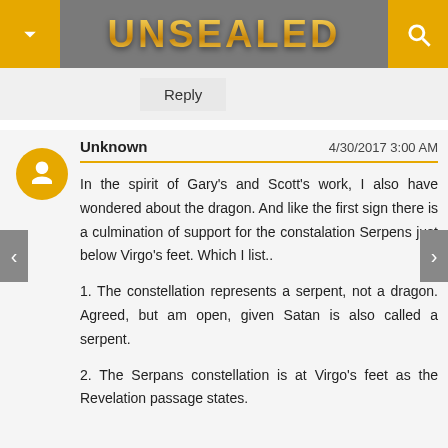UNSEALED
Reply
Unknown    4/30/2017 3:00 AM
In the spirit of Gary's and Scott's work, I also have wondered about the dragon. And like the first sign there is a culmination of support for the constalation Serpens just below Virgo's feet. Which I list..
1. The constellation represents a serpent, not a dragon. Agreed, but am open, given Satan is also called a serpent.
2. The Serpans constellation is at Virgo's feet as the Revelation passage states.